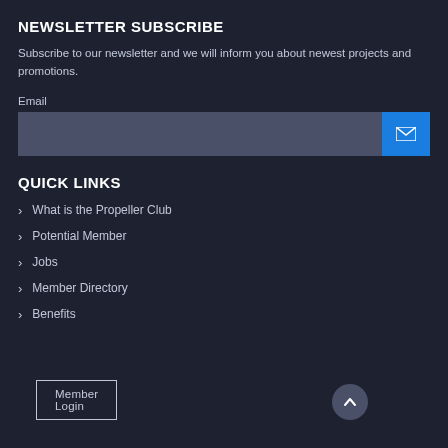NEWSLETTER SUBSCRIBE
Subscribe to our newsletter and we will inform you about newest projects and promotions.
Email
[Figure (other): Email input field with dark background and blue submit button containing envelope icon]
QUICK LINKS
What is the Propeller Club
Potential Member
Jobs
Member Directory
Benefits
Member Login
[Figure (other): Back to top caret/chevron button in circular container]